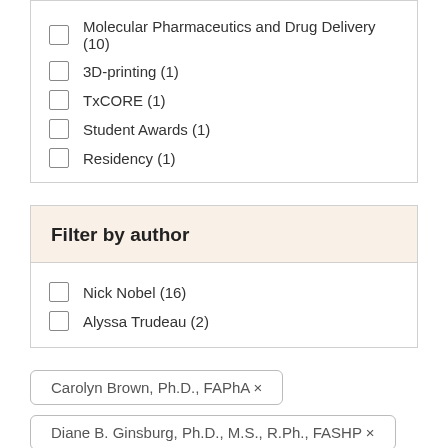Molecular Pharmaceutics and Drug Delivery (10)
3D-printing (1)
TxCORE (1)
Student Awards (1)
Residency (1)
Filter by author
Nick Nobel (16)
Alyssa Trudeau (2)
Carolyn Brown, Ph.D., FAPhA ×
Diane B. Ginsburg, Ph.D., M.S., R.Ph., FASHP ×